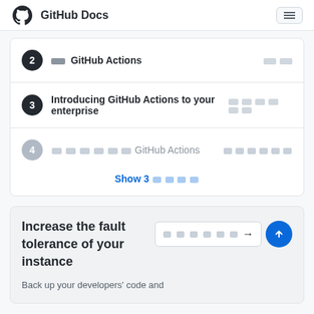GitHub Docs
2 [redacted] GitHub Actions [redacted]
3 Introducing GitHub Actions to your enterprise [redacted]
4 [redacted] GitHub Actions [redacted]
Show 3 [redacted]
Increase the fault tolerance of your instance
Back up your developers&apos; code and